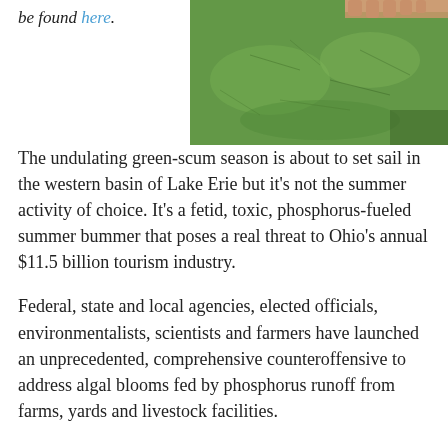be found here.
[Figure (photo): Close-up photograph of green algae scum on water surface, with a hand visible at the top edge of the image.]
The undulating green-scum season is about to set sail in the western basin of Lake Erie but it's not the summer activity of choice. It's a fetid, toxic, phosphorus-fueled summer bummer that poses a real threat to Ohio's annual $11.5 billion tourism industry.
Federal, state and local agencies, elected officials, environmentalists, scientists and farmers have launched an unprecedented, comprehensive counteroffensive to address algal blooms fed by phosphorus runoff from farms, yards and livestock facilities.
U.S. Sen. Rob Portman, a Cincinnati Republican, has put the issue front and center on the national stage. Portman – together with Sen. Bill Nelson, a Florida Democrat –